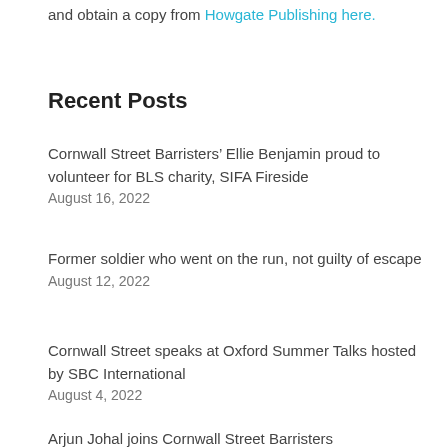and obtain a copy from Howgate Publishing here.
Recent Posts
Cornwall Street Barristers’ Ellie Benjamin proud to volunteer for BLS charity, SIFA Fireside
August 16, 2022
Former soldier who went on the run, not guilty of escape
August 12, 2022
Cornwall Street speaks at Oxford Summer Talks hosted by SBC International
August 4, 2022
Arjun Johal joins Cornwall Street Barristers